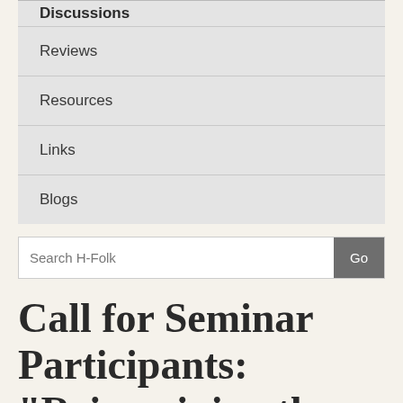Discussions
Reviews
Resources
Links
Blogs
Search H-Folk
Call for Seminar Participants: "Reimagining the American Landscape: